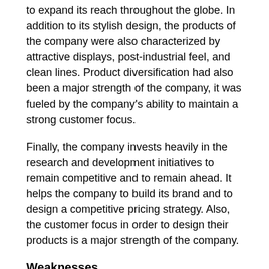to expand its reach throughout the globe. In addition to its stylish design, the products of the company were also characterized by attractive displays, post-industrial feel, and clean lines. Product diversification had also been a major strength of the company, it was fueled by the company's ability to maintain a strong customer focus.
Finally, the company invests heavily in the research and development initiatives to remain competitive and to remain ahead. It helps the company to build its brand and to design a competitive pricing strategy. Also, the customer focus in order to design their products is a major strength of the company.
Weaknesses
The internal conflicts and the managerial issues had been one of the major causes of the company that it had seen tough times as well. Also, the delay in the adoption of Intel microprocessors, also caused the company to grow in frustration in order to align itself